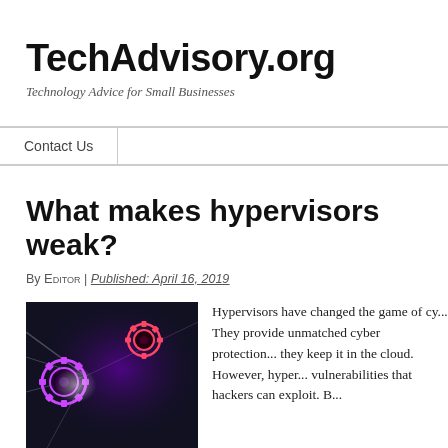TechAdvisory.org
Technology Advice for Small Businesses
Contact Us
What makes hypervisors weak?
By EDITOR | Published: APRIL 16, 2019
[Figure (photo): Abstract cybersecurity image with glowing gears and light beams on dark background]
Hypervisors have changed the game of cy... They provide unmatched cyber protection... they keep it in the cloud. However, hyper... vulnerabilities that hackers can exploit. B...